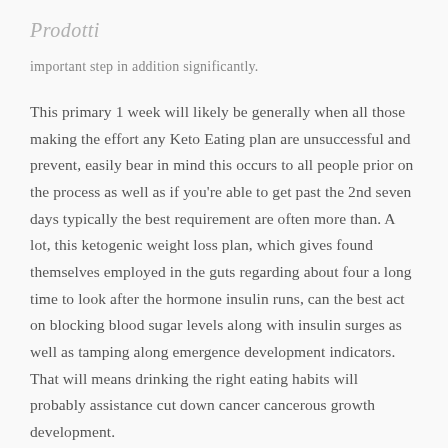Prodotti
important step in addition significantly.
This primary 1 week will likely be generally when all those making the effort any Keto Eating plan are unsuccessful and prevent, easily bear in mind this occurs to all people prior on the process as well as if you’re able to get past the 2nd seven days typically the best requirement are often more than. A lot, this ketogenic weight loss plan, which gives found themselves employed in the guts regarding about four a long time to look after the hormone insulin runs, can the best act on blocking blood sugar levels along with insulin surges as well as tamping along emergence development indicators. That will means drinking the right eating habits will probably assistance cut down cancer cancerous growth development.